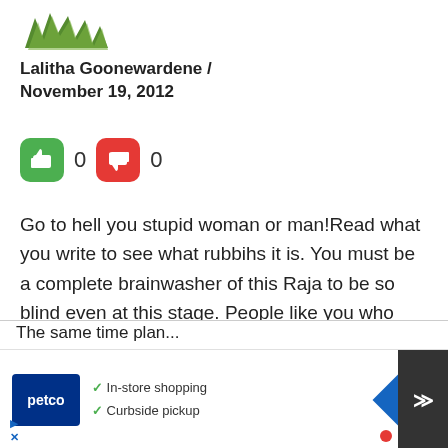[Figure (logo): Green plant/leaf decorative logo icon]
Lalitha Goonewardene / November 19, 2012
[Figure (infographic): Thumbs up (green) with count 0, Thumbs down (red) with count 0 vote buttons]
Go to hell you stupid woman or man!Read what you write to see what rubbihs it is. You must be a complete brainwasher of this Raja to be so blind even at this stage. People like you who have no idea of fairplay, the importance of democracy and only like to abuse should be given summary mob justice.
[Figure (screenshot): Advertisement overlay: Petco logo with In-store shopping and Curbside pickup text, navigation diamond icon, scroll-up button, X close button]